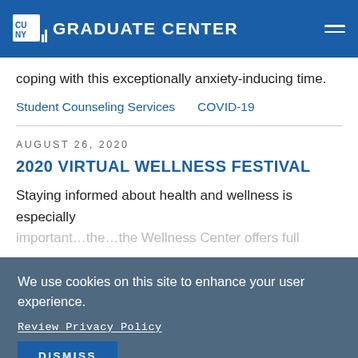CUNY Graduate Center
coping with this exceptionally anxiety-inducing time.
Student Counseling Services   COVID-19
AUGUST 26, 2020
2020 VIRTUAL WELLNESS FESTIVAL
Staying informed about health and wellness is especially important…the…the Wellness Center offers full…
We use cookies on this site to enhance your user experience.
Review Privacy Policy
DISMISS